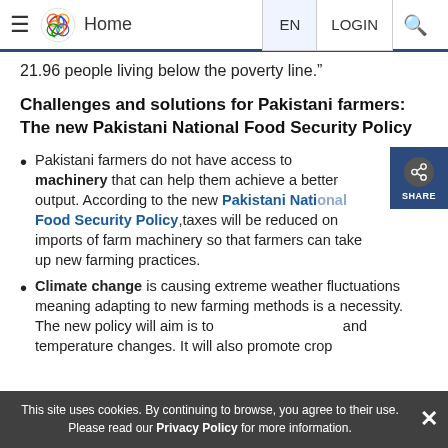Home | EN | LOGIN
21.96 people living below the poverty line.”
Challenges and solutions for Pakistani farmers: The new Pakistani National Food Security Policy
Pakistani farmers do not have access to machinery that can help them achieve a better output. According to the new Pakistani National Food Security Policy, taxes will be reduced on imports of farm machinery so that farmers can take up new farming practices.
Climate change is causing extreme weather fluctuations meaning adapting to new farming methods is a necessity. The new policy will aim is to ... and temperature changes. It will also promote crop
This site uses cookies. By continuing to browse, you agree to their use. Please read our Privacy Policy for more information.